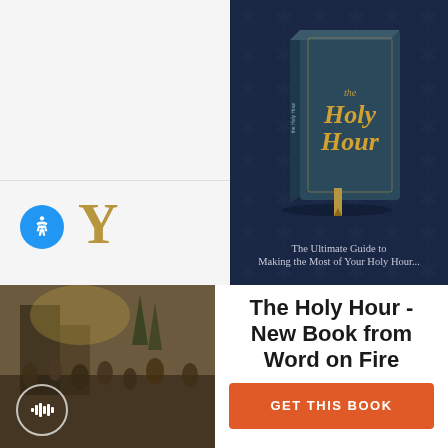[Figure (screenshot): Website screenshot showing a dark navy blue book cover for 'The Holy Hour' with gold lettering, a bookmark ribbon, on a dark navy background with star/cross pattern. Subtitle text reads 'The Ultimate Guide to Making the Most of Your Holy Hour...']
[Figure (illustration): Partial view of a religious painting showing a crowd scene, with an audio playback button overlay (circle with waveform icon). Also shows a blue circular accessibility icon and partial gold letter Y on grey sidebar.]
The Holy Hour - New Book from Word on Fire
GET THIS BOOK